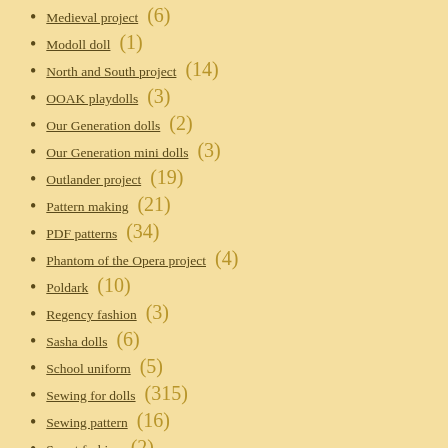Medieval project (6)
Modoll doll (1)
North and South project (14)
OOAK playdolls (3)
Our Generation dolls (2)
Our Generation mini dolls (3)
Outlander project (19)
Pattern making (21)
PDF patterns (34)
Phantom of the Opera project (4)
Poldark (10)
Regency fashion (3)
Sasha dolls (6)
School uniform (5)
Sewing for dolls (315)
Sewing pattern (16)
Smart fashion (2)
Soom doll (4)
Soviet / Russian doll (1)